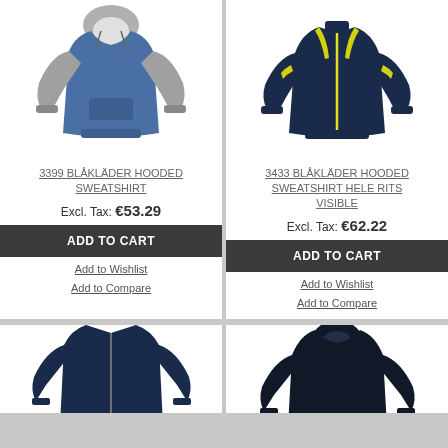[Figure (photo): Blue and grey hooded sweatshirt product photo]
3399 BLÅKLÄDER HOODED SWEATSHIRT
Excl. Tax: €53.29
ADD TO CART
Add to Wishlist
Add to Compare
[Figure (photo): Navy blue and yellow hooded sweatshirt with full zip product photo]
3433 BLÅKLÄDER HOODED SWEATSHIRT HELE RITS VISIBLE
Excl. Tax: €62.22
ADD TO CART
Add to Wishlist
Add to Compare
[Figure (photo): Navy blue hooded sweatshirt with zipper product photo (partial, bottom of page)]
[Figure (photo): Dark navy hooded sweatshirt product photo (partial, bottom of page)]